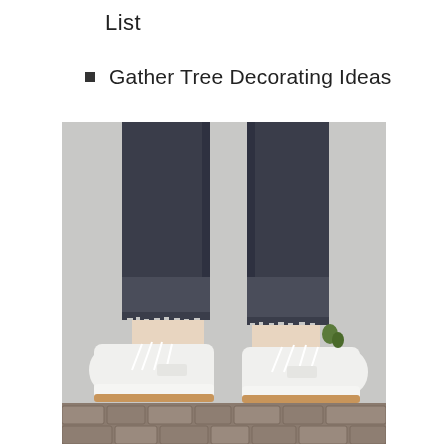List
Gather Tree Decorating Ideas
[Figure (photo): Close-up photo of a person's legs wearing dark navy/black frayed-hem cropped jeans and white Reebok classic leather sneakers with gum soles, standing on a cobblestone surface against a light grey wall background.]